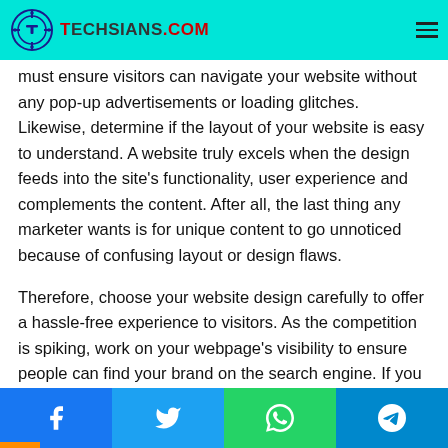Techsians.com
However, your job doesn't end after creating a website. You must ensure visitors can navigate your website without any pop-up advertisements or loading glitches. Likewise, determine if the layout of your website is easy to understand. A website truly excels when the design feeds into the site's functionality, user experience and complements the content. After all, the last thing any marketer wants is for unique content to go unnoticed because of confusing layout or design flaws.

Therefore, choose your website design carefully to offer a hassle-free experience to visitors. As the competition is spiking, work on your webpage's visibility to ensure people can find your brand on the search engine. If you don't know much about digital storefronts, let us help you out. Here are
Facebook Twitter WhatsApp Telegram